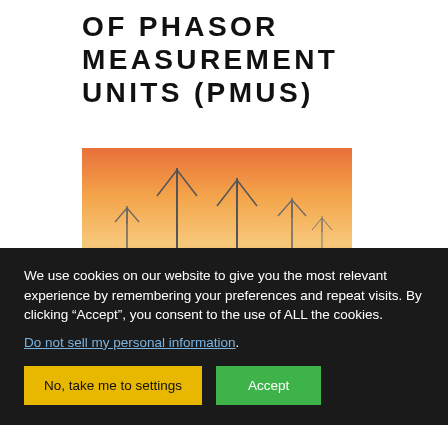OF PHASOR MEASUREMENT UNITS (PMUS)
[Figure (photo): Solar panels in the foreground with wind turbines against an orange sunset sky]
We use cookies on our website to give you the most relevant experience by remembering your preferences and repeat visits. By clicking “Accept”, you consent to the use of ALL the cookies.
Do not sell my personal information.
No, take me to settings
Accept